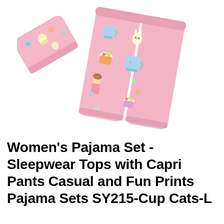[Figure (photo): Pink women's pajama set with cute cup and cats print pattern, showing a long-sleeve top and capri pants laid out at an angle on a white background.]
Women's Pajama Set - Sleepwear Tops with Capri Pants Casual and Fun Prints Pajama Sets SY215-Cup Cats-L